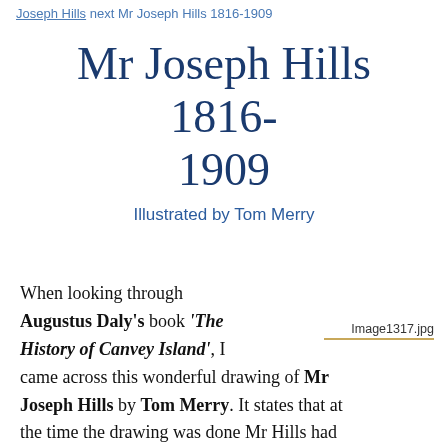Joseph Hills next Mr Joseph Hills 1816-1909
Mr Joseph Hills 1816-1909
Illustrated by Tom Merry
When looking through Augustus Daly's book 'The History of Canvey Island', I came across this wonderful drawing of Mr Joseph Hills by Tom Merry. It states that at the time the drawing was done Mr Hills had lived on the Island for 83 Years and was the oldest inhabitant. I had already looked into
Image1317.jpg